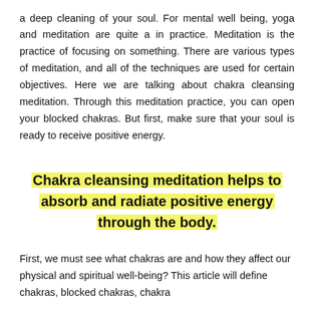a deep cleaning of your soul. For mental well being, yoga and meditation are quite a in practice. Meditation is the practice of focusing on something. There are various types of meditation, and all of the techniques are used for certain objectives. Here we are talking about chakra cleansing meditation. Through this meditation practice, you can open your blocked chakras. But first, make sure that your soul is ready to receive positive energy.
Chakra cleansing meditation helps to absorb and radiate positive energy through the body.
First, we must see what chakras are and how they affect our physical and spiritual well-being? This article will define chakras, blocked chakras, chakra